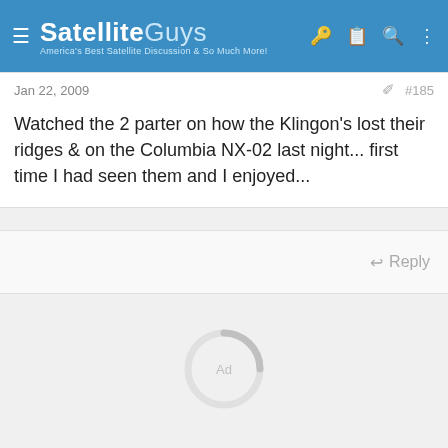SatelliteGuys — America's Best Satellite Discussion & So Much More!
Jan 22, 2009
#185
Watched the 2 parter on how the Klingon's lost their ridges & on the Columbia NX-02 last night... first time I had seen them and I enjoyed...
Reply
[Figure (other): Loading/ad spinner circle with 'Ad' text in center, shown in lower gray area of page]